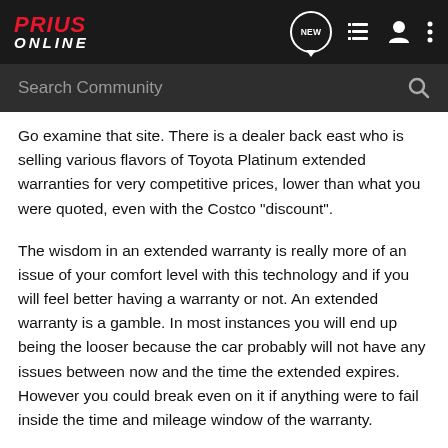Prius Online — NEW — navigation icons
Go examine that site. There is a dealer back east who is selling various flavors of Toyota Platinum extended warranties for very competitive prices, lower than what you were quoted, even with the Costco "discount".
The wisdom in an extended warranty is really more of an issue of your comfort level with this technology and if you will feel better having a warranty or not. An extended warranty is a gamble. In most instances you will end up being the looser because the car probably will not have any issues between now and the time the extended expires. However you could break even on it if anything were to fail inside the time and mileage window of the warranty.
However, for the prices that the dealer working with PriusChat